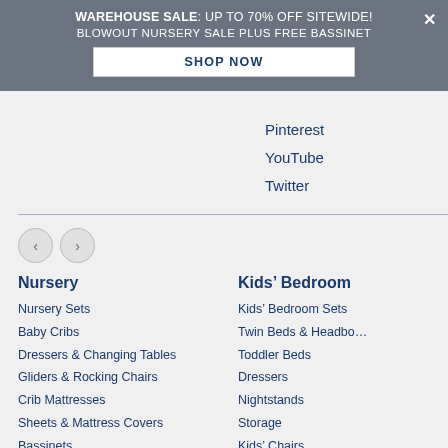WAREHOUSE SALE: UP TO 70% OFF SITEWIDE! BLOWOUT NURSERY SALE PLUS FREE BASSINET SHOP NOW
Pinterest
YouTube
Twitter
Nursery
Nursery Sets
Baby Cribs
Dressers & Changing Tables
Gliders & Rocking Chairs
Crib Mattresses
Sheets & Mattress Covers
Bassinets
Nightstands & End Tables
Kids' Bedroom
Kids' Bedroom Sets
Twin Beds & Headboards
Toddler Beds
Dressers
Nightstands
Storage
Kids' Chairs
Table & Chair Sets